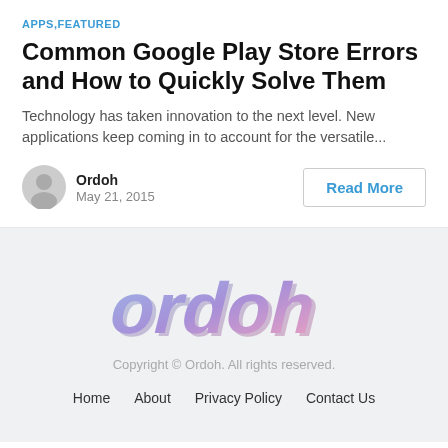APPS,FEATURED
Common Google Play Store Errors and How to Quickly Solve Them
Technology has taken innovation to the next level. New applications keep coming in to account for the versatile...
Ordoh
May 21, 2015
Read More
[Figure (logo): Ordoh logo in blue-purple gradient italic text]
Copyright © Ordoh. All rights reserved.
Home   About   Privacy Policy   Contact Us